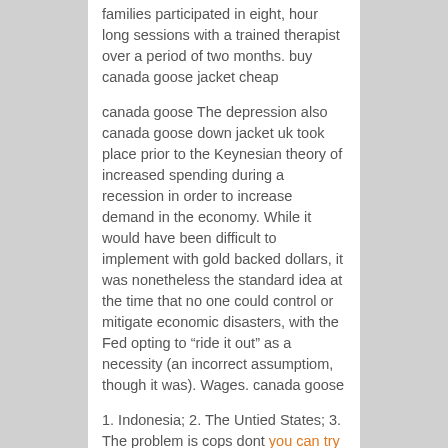families participated in eight, hour long sessions with a trained therapist over a period of two months. buy canada goose jacket cheap
canada goose The depression also canada goose down jacket uk took place prior to the Keynesian theory of increased spending during a recession in order to increase demand in the economy. While it would have been difficult to implement with gold backed dollars, it was nonetheless the standard idea at the time that no one could control or mitigate economic disasters, with the Fed opting to “ride it out” as a necessity (an incorrect assumptiom, though it was). Wages. canada goose
1. Indonesia; 2. The Untied States; 3. The problem is cops dont you can try here stop these people. I seen plenty of cars drive right past the cops without their lights on. I think if you caught driving without your headlights, you should be forced to pull over, hand over your canada goose outlet legit keys to the police, and not be allowed to drive for 24 hours.